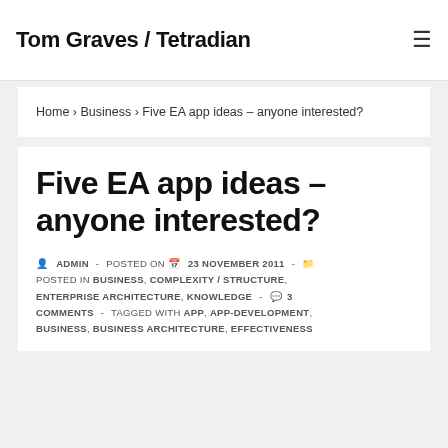Tom Graves / Tetradian
Home › Business › Five EA app ideas – anyone interested?
Five EA app ideas – anyone interested?
ADMIN - POSTED ON 23 NOVEMBER 2011 - POSTED IN BUSINESS, COMPLEXITY / STRUCTURE, ENTERPRISE ARCHITECTURE, KNOWLEDGE - 3 COMMENTS - TAGGED WITH APP, APP-DEVELOPMENT, BUSINESS, BUSINESS ARCHITECTURE, EFFECTIVENESS